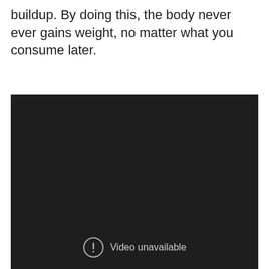buildup. By doing this, the body never ever gains weight, no matter what you consume later.
[Figure (other): Dark/black video player area with a 'Video unavailable' message at the bottom, showing a circle with exclamation mark icon and the text 'Video unavailable' in light gray.]